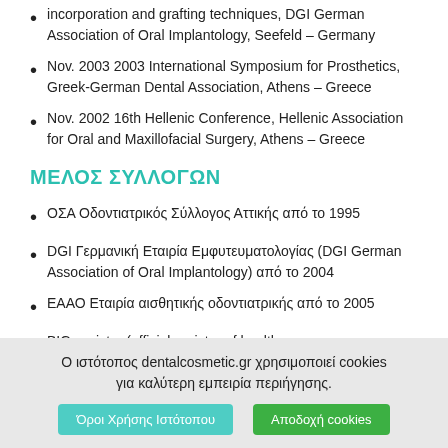incorporation and grafting techniques, DGI German Association of Oral Implantology, Seefeld – Germany
Nov. 2003 2003 International Symposium for Prosthetics, Greek-German Dental Association, Athens – Greece
Nov. 2002 16th Hellenic Conference, Hellenic Association for Oral and Maxillofacial Surgery, Athens – Greece
ΜΕΛΟΣ ΣΥΛΛΟΓΩΝ
ΟΣΑ Οδοντιατρικός Σύλλογος Αττικής από το 1995
DGI Γερμανική Εταιρία Εμφυτευματολογίας (DGI German Association of Oral Implantology) από το 2004
ΕΑΑΟ Εταιρία αισθητικής οδοντιατρικής από το 2005
BIG-register (official register of health care
Ο ιστότοπος dentalcosmetic.gr χρησιμοποιεί cookies για καλύτερη εμπειρία περιήγησης.
Όροι Χρήσης Ιστότοπου | Αποδοχή cookies